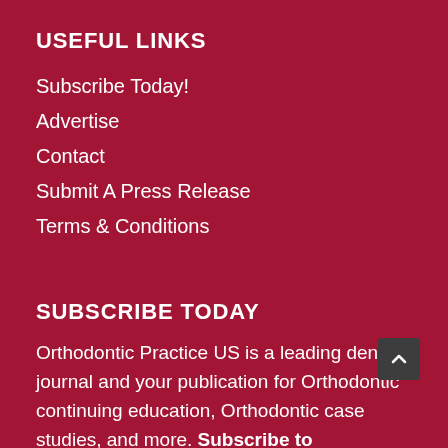USEFUL LINKS
Subscribe Today!
Advertise
Contact
Submit A Press Release
Terms & Conditions
SUBSCRIBE TODAY
Orthodontic Practice US is a leading dental journal and your publication for Orthodontic continuing education, Orthodontic case studies, and more. Subscribe to Orthodontic Practice US today!